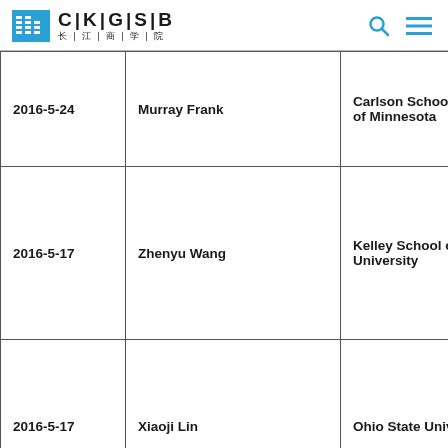CKGSB 长江商学院
| 2016-5-24 | Murray Frank | Carlson School of M of Minnesota |
| 2016-5-17 | Zhenyu Wang | Kelley School of Bu University |
| 2016-5-17 | Xiaoji Lin | Ohio State Universi |
|  |  |  |